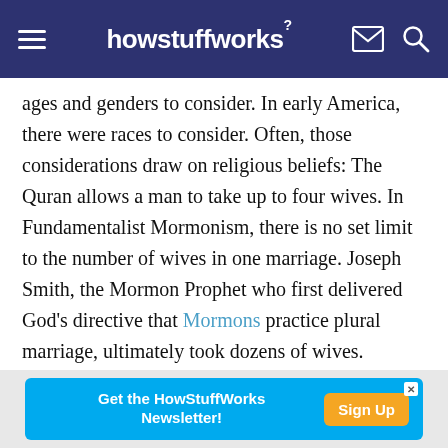howstuffworks
ages and genders to consider. In early America, there were races to consider. Often, those considerations draw on religious beliefs: The Quran allows a man to take up to four wives. In Fundamentalist Mormonism, there is no set limit to the number of wives in one marriage. Joseph Smith, the Mormon Prophet who first delivered God's directive that Mormons practice plural marriage, ultimately took dozens of wives.
In the United States, Fundamentalist Mormons are the most common groups to practice polygamy.
Get the HowStuffWorks Newsletter! Sign Up